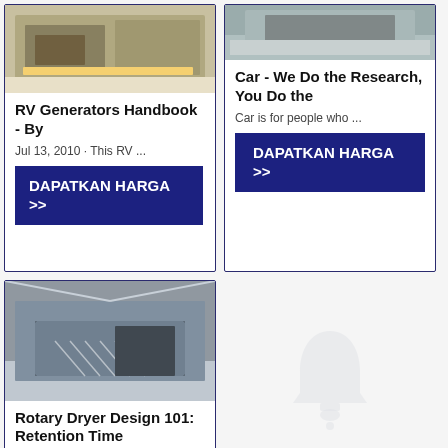[Figure (photo): Photo of RV generator or machinery in yellow/gray]
RV Generators Handbook - By
Jul 13, 2010 · This RV ...
DAPATKAN HARGA >>
[Figure (photo): Photo of gravel or stone material, car-related]
Car - We Do the Research, You Do the
Car is for people who ...
DAPATKAN HARGA >>
[Figure (photo): Photo of large rotary dryer industrial equipment inside a warehouse]
Rotary Dryer Design 101: Retention Time
Another characteristic t...
[Figure (illustration): Bell/notification icon in light gray]